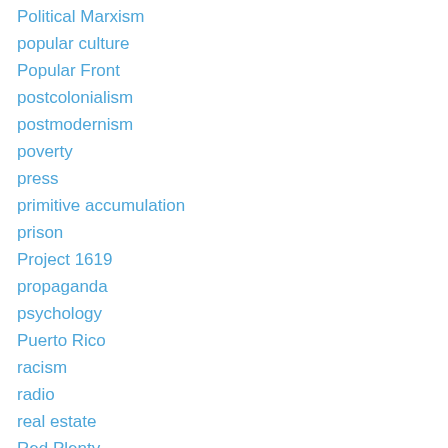Political Marxism
popular culture
Popular Front
postcolonialism
postmodernism
poverty
press
primitive accumulation
prison
Project 1619
propaganda
psychology
Puerto Rico
racism
radio
real estate
Red Plenty
Red-Brown alliance
reformism
refugees